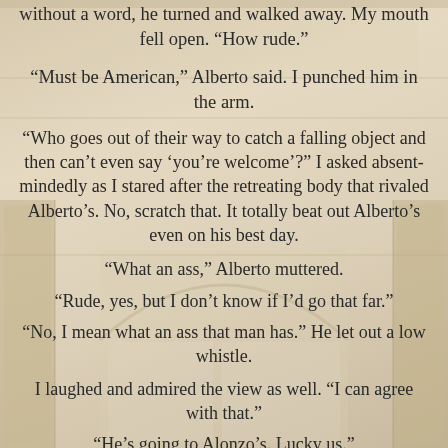without a word, he turned and walked away. My mouth fell open. “How rude.”
“Must be American,” Alberto said. I punched him in the arm.
“Who goes out of their way to catch a falling object and then can’t even say ‘you’re welcome’?” I asked absent-mindedly as I stared after the retreating body that rivaled Alberto’s. No, scratch that. It totally beat out Alberto’s even on his best day.
“What an ass,” Alberto muttered.
“Rude, yes, but I don’t know if I’d go that far.”
“No, I mean what an ass that man has.” He let out a low whistle.
I laughed and admired the view as well. “I can agree with that.”
“He’s going to Alonzo’s. Lucky us.”